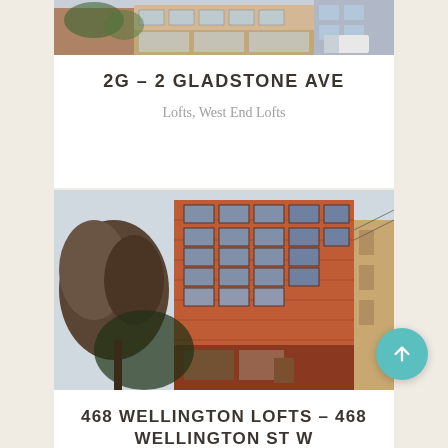[Figure (photo): Street-level photo of 2G – 2 Gladstone Ave building, a mixed-use commercial/retail building]
2G – 2 GLADSTONE AVE
Lofts, West End Lofts
[Figure (photo): Photo of 468 Wellington Lofts – a tall red brick multi-storey loft building photographed from a low angle]
468 WELLINGTON LOFTS – 468 WELLINGTON ST W